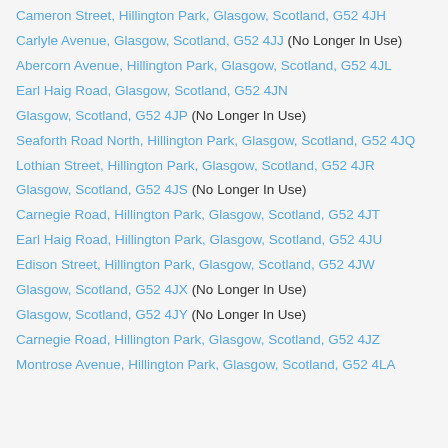Cameron Street, Hillington Park, Glasgow, Scotland, G52 4JH
Carlyle Avenue, Glasgow, Scotland, G52 4JJ (No Longer In Use)
Abercorn Avenue, Hillington Park, Glasgow, Scotland, G52 4JL
Earl Haig Road, Glasgow, Scotland, G52 4JN
Glasgow, Scotland, G52 4JP (No Longer In Use)
Seaforth Road North, Hillington Park, Glasgow, Scotland, G52 4JQ
Lothian Street, Hillington Park, Glasgow, Scotland, G52 4JR
Glasgow, Scotland, G52 4JS (No Longer In Use)
Carnegie Road, Hillington Park, Glasgow, Scotland, G52 4JT
Earl Haig Road, Hillington Park, Glasgow, Scotland, G52 4JU
Edison Street, Hillington Park, Glasgow, Scotland, G52 4JW
Glasgow, Scotland, G52 4JX (No Longer In Use)
Glasgow, Scotland, G52 4JY (No Longer In Use)
Carnegie Road, Hillington Park, Glasgow, Scotland, G52 4JZ
Montrose Avenue, Hillington Park, Glasgow, Scotland, G52 4LA